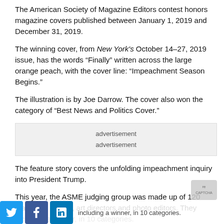The American Society of Magazine Editors contest honors magazine covers published between January 1, 2019 and December 31, 2019.
The winning cover, from New York's October 14–27, 2019 issue, has the words “Finally” written across the large orange peach, with the cover line: “Impeachment Season Begins.”
The illustration is by Joe Darrow. The cover also won the category of “Best News and Politics Cover.”
[Figure (other): Advertisement placeholder box with two lines of text reading 'advertisement']
The feature story covers the unfolding impeachment inquiry into President Trump.
This year, the ASME judging group was made up of 120 magazine editors, art directors and photo editors. They
including a winner, in 10 categories.
the ASME Board of Directors chooses the Ellie winner for